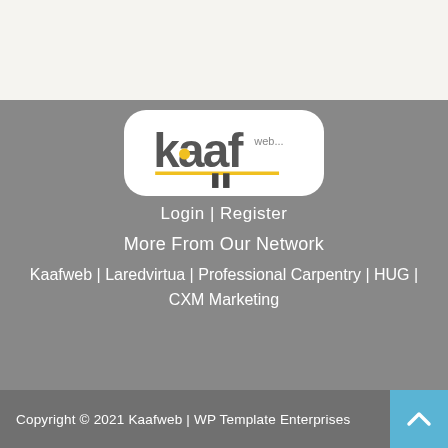[Figure (logo): Kaafweb logo — white rounded rectangle containing stylized 'kaaf' text in dark gray with yellow accent elements and 'web...' text, with two dark vertical bar strokes below and a yellow horizontal line]
Login | Register
More From Our Network
Kaafweb | Laredvirtua | Professional Carpentry | HUG | CXM Marketing
Copyright © 2021 Kaafweb | WP Template Enterprises